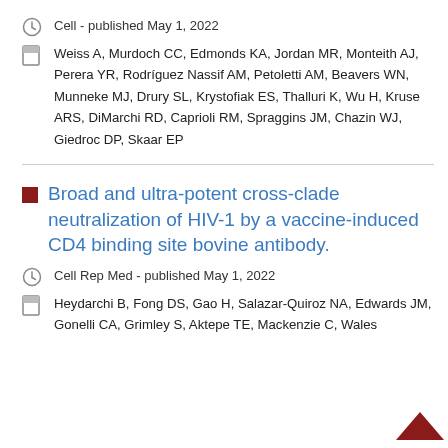Cell - published May 1, 2022
Weiss A, Murdoch CC, Edmonds KA, Jordan MR, Monteith AJ, Perera YR, Rodríguez Nassif AM, Petoletti AM, Beavers WN, Munneke MJ, Drury SL, Krystofiak ES, Thalluri K, Wu H, Kruse ARS, DiMarchi RD, Caprioli RM, Spraggins JM, Chazin WJ, Giedroc DP, Skaar EP
Broad and ultra-potent cross-clade neutralization of HIV-1 by a vaccine-induced CD4 binding site bovine antibody.
Cell Rep Med - published May 1, 2022
Heydarchi B, Fong DS, Gao H, Salazar-Quiroz NA, Edwards JM, Gonelli CA, Grimley S, Aktepe TE, Mackenzie C, Wales